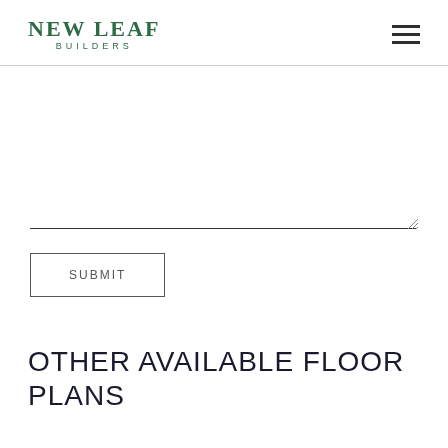NEW LEAF BUILDERS
[Figure (other): Hamburger menu icon (three horizontal lines) in top right corner]
[Figure (other): Text area input field with resize handle, mostly empty white space]
SUBMIT
OTHER AVAILABLE FLOOR PLANS